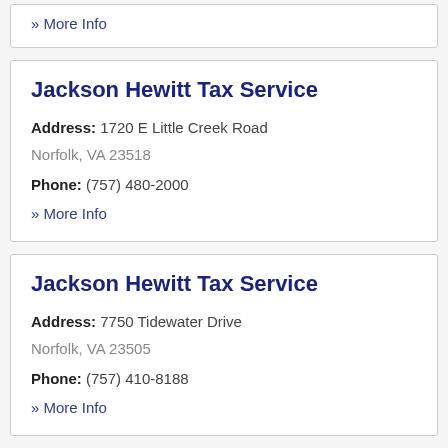» More Info
Jackson Hewitt Tax Service
Address: 1720 E Little Creek Road Norfolk, VA 23518
Phone: (757) 480-2000
» More Info
Jackson Hewitt Tax Service
Address: 7750 Tidewater Drive Norfolk, VA 23505
Phone: (757) 410-8188
» More Info